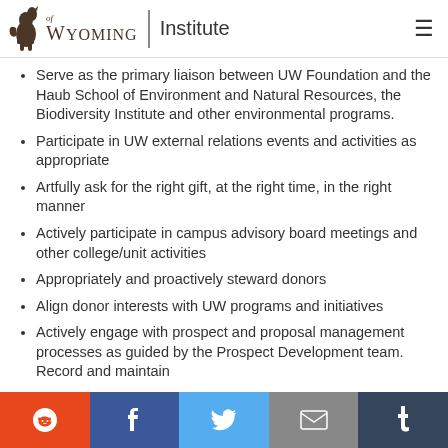University of Wyoming | Institute
Serve as the primary liaison between UW Foundation and the Haub School of Environment and Natural Resources, the Biodiversity Institute and other environmental programs.
Participate in UW external relations events and activities as appropriate
Artfully ask for the right gift, at the right time, in the right manner
Actively participate in campus advisory board meetings and other college/unit activities
Appropriately and proactively steward donors
Align donor interests with UW programs and initiatives
Actively engage with prospect and proposal management processes as guided by the Prospect Development team. Record and maintain
Social share bar: Reddit, Facebook, Twitter, Email, Tumblr